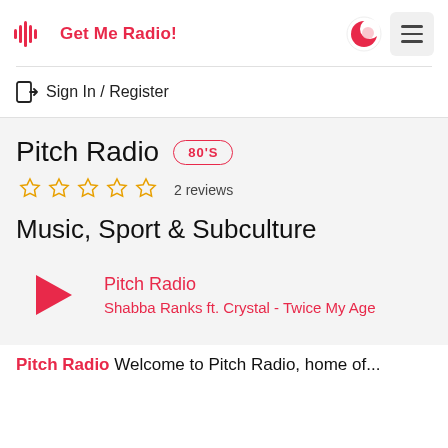Get Me Radio!
Sign In / Register
Pitch Radio  80'S
2 reviews
Music, Sport & Subculture
Pitch Radio
Shabba Ranks ft. Crystal - Twice My Age
Pitch Radio Welcome to Pitch Radio, home of...